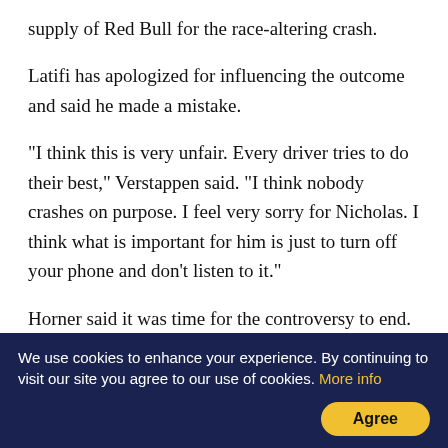supply of Red Bull for the race-altering crash.
Latifi has apologized for influencing the outcome and said he made a mistake.
“I think this is very unfair. Every driver tries to do their best,” Verstappen said. “I think nobody crashes on purpose. I feel very sorry for Nicholas. I think what is important for him is just to turn off your phone and don't listen to it.”
Horner said it was time for the controversy to end. Mercedes boss Toto Wolff texted his congratulations to both Verstappen and Horner, the Red Bull winners
We use cookies to enhance your experience. By continuing to visit our site you agree to our use of cookies. More info  Agree